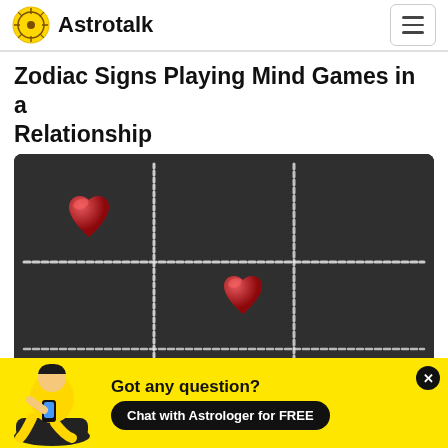Astrotalk
Zodiac Signs Playing Mind Games in a Relationship
[Figure (photo): Dark chalkboard background with a tic-tac-toe grid drawn in chalk. Two glossy red heart-shaped objects are placed in different squares of the grid. The image represents mind games played in relationships.]
Got any question? Chat with Astrologer for FREE